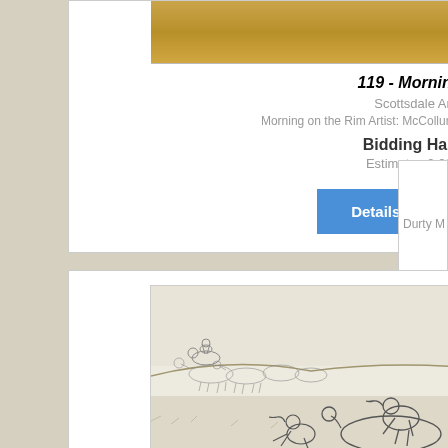[Figure (photo): Partial top image of an artwork showing warm gold/brown tones, cropped at top]
119 - Morning on the Rim
Scottsdale Art Auction, LLC
Morning on the Rim Artist: McCollum, RickDate of Birth: b. 1945 Mediu...
Bidding Has Concluded
Estimate : 2,000.00 - 3,000.00
[Figure (photo): Pencil sketch / drawing showing cowboys on a range scene: figures on horseback, a cowboy crouching over a calf on the ground, cattle and riders in the background, open plains with low hills]
Durty M